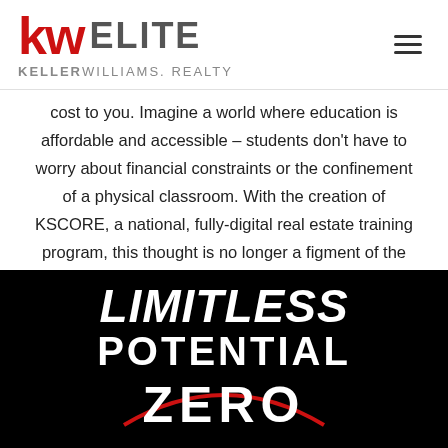[Figure (logo): Keller Williams Elite Realty logo with red 'kw' letters and gray 'ELITE' text, plus hamburger menu icon]
cost to you. Imagine a world where education is affordable and accessible – students don't have to worry about financial constraints or the confinement of a physical classroom. With the creation of KSCORE, a national, fully-digital real estate training program, this thought is no longer a figment of the imagination.
[Figure (illustration): Black background promotional image with large bold white italic text reading 'LIMITLESS POTENTIAL ZERO' with a red arc under ZERO]